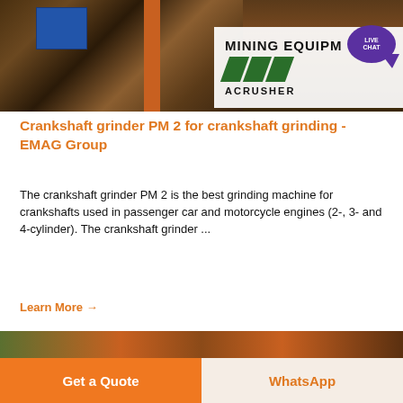[Figure (photo): Mining equipment with blue container tank and orange pipes/structure, with MINING EQUIPMENT ACRUSHER logo overlay and purple LIVE CHAT bubble]
Crankshaft grinder PM 2 for crankshaft grinding - EMAG Group
The crankshaft grinder PM 2 is the best grinding machine for crankshafts used in passenger car and motorcycle engines (2-, 3- and 4-cylinder). The crankshaft grinder ...
Learn More →
[Figure (photo): Mining equipment machinery with orange structure against green hillside/forest background]
Get a Quote
WhatsApp